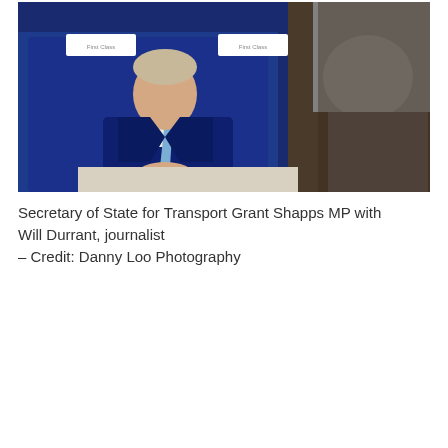[Figure (photo): Secretary of State for Transport Grant Shapps MP seated in a blue train First Class seat, wearing a navy suit and light blue tie, in conversation with Will Durrant, a journalist seated across from him (seen from behind). White First Class headrest covers visible in the background.]
Secretary of State for Transport Grant Shapps MP with Will Durrant, journalist – Credit: Danny Loo Photography